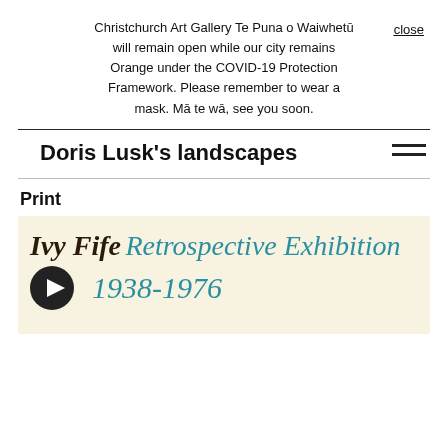Christchurch Art Gallery Te Puna o Waiwhetū will remain open while our city remains Orange under the COVID-19 Protection Framework. Please remember to wear a mask. Mā te wā, see you soon.
Doris Lusk's landscapes
Print
[Figure (other): Exhibition poster for 'Ivy Fife Retrospective Exhibition 1938-1976' with decorative italic typography in dark and teal colors on a pale yellow background, with a circular play button icon.]